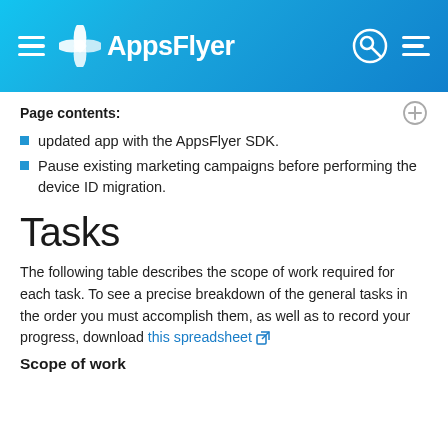AppsFlyer
Page contents:
updated app with the AppsFlyer SDK.
Pause existing marketing campaigns before performing the device ID migration.
Tasks
The following table describes the scope of work required for each task. To see a precise breakdown of the general tasks in the order you must accomplish them, as well as to record your progress, download this spreadsheet
Scope of work